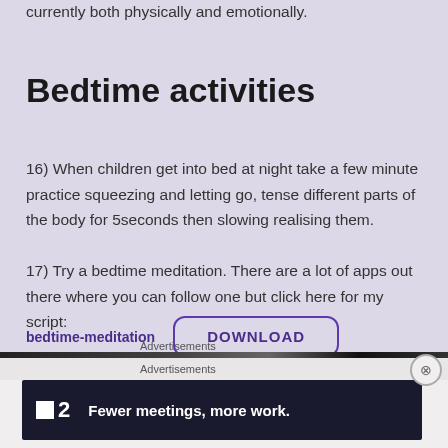currently both physically and emotionally.
Bedtime activities
16) When children get into bed at night take a few minute practice squeezing and letting go, tense different parts of the body for 5seconds then slowing realising them.
17) Try a bedtime meditation. There are a lot of apps out there where you can follow one but click here for my script:
bedtime-meditation  DOWNLOAD
Advertisements
[Figure (screenshot): Advertisement banner for a product, dark background with logo showing a square and '2', text reads 'Fewer meetings, more work.']